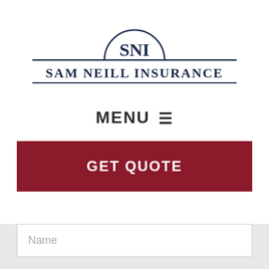[Figure (logo): Sam Neill Insurance logo with SNI initials inside a semicircle arch above the text SAM NEILL INSURANCE with horizontal lines on either side]
MENU ≡
GET QUOTE
Name